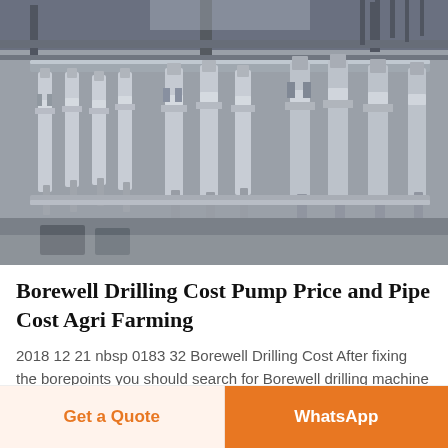[Figure (photo): Industrial drilling or filling machine with multiple metallic vertical spindles/nozzles arranged in rows, photographed in a factory setting with grey metallic components and overhead cables.]
Borewell Drilling Cost Pump Price and Pipe Cost Agri Farming
2018 12 21 nbsp 0183 32 Borewell Drilling Cost After fixing the borepoints you should search for Borewell drilling machine The cost of the drilling
Get a Quote | WhatsApp